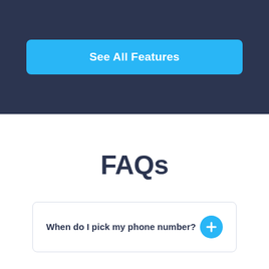[Figure (other): Blue button labeled 'See All Features' on dark navy background]
FAQs
When do I pick my phone number?